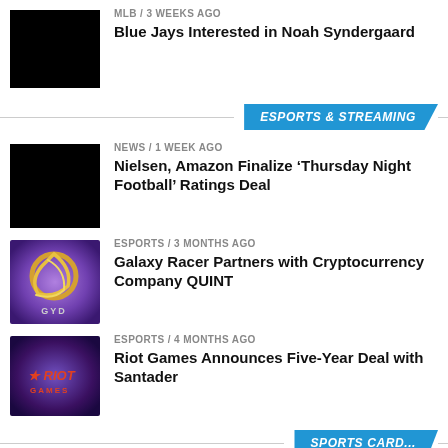[Figure (photo): Black thumbnail image for Blue Jays article]
MLB / 3 weeks ago
Blue Jays Interested in Noah Syndergaard
ESPORTS & STREAMING
[Figure (photo): Black thumbnail image for Nielsen Amazon article]
NEWS / 1 week ago
Nielsen, Amazon Finalize ‘Thursday Night Football’ Ratings Deal
[Figure (logo): Galaxy Racer GYP logo on purple background]
ESPORTS / 3 months ago
Galaxy Racer Partners with Cryptocurrency Company QUINT
[Figure (logo): Riot Games logo on purple background]
ESPORTS / 4 months ago
Riot Games Announces Five-Year Deal with Santader
SPORTS CARD...